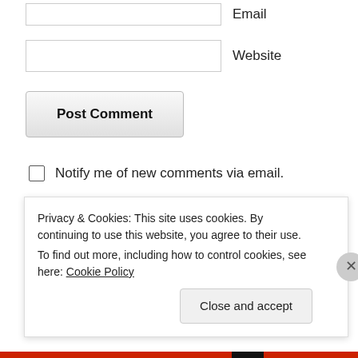Email
Website
Post Comment
Notify me of new comments via email.
Notify me of new posts via email.
[Figure (illustration): Featured On badge — blue semicircle with white text reading FEATURED ON]
Privacy & Cookies: This site uses cookies. By continuing to use this website, you agree to their use.
To find out more, including how to control cookies, see here: Cookie Policy
Close and accept